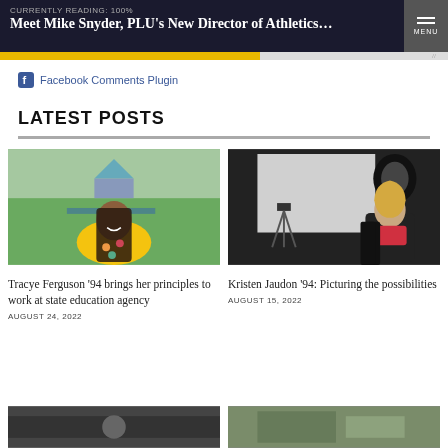CURRENTLY READING: 100% | Meet Mike Snyder, PLU's New Director of Athletics... | MENU
Facebook Comments Plugin
LATEST POSTS
[Figure (photo): Portrait of Tracye Ferguson '94 outdoors in a yellow floral top with a gazebo in the background]
Tracye Ferguson '94 brings her principles to work at state education agency
AUGUST 24, 2022
[Figure (photo): Portrait of Kristen Jaudon '94 seated in a photography studio with camera equipment visible]
Kristen Jaudon '94: Picturing the possibilities
AUGUST 15, 2022